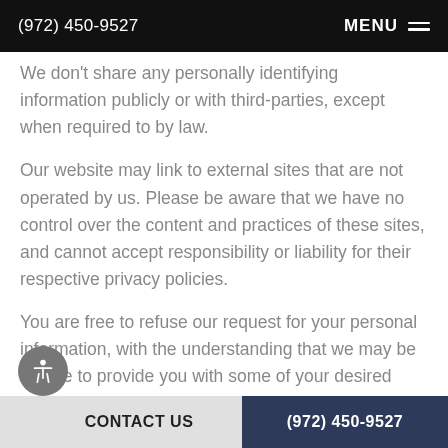(972) 450-9527  MENU
We don't share any personally identifying information publicly or with third-parties, except when required to by law.
Our website may link to external sites that are not operated by us. Please be aware that we have no control over the content and practices of these sites, and cannot accept responsibility or liability for their respective privacy policies.
You are free to refuse our request for your personal information, with the understanding that we may be unable to provide you with some of your desired services.
CONTACT US  (972) 450-9527